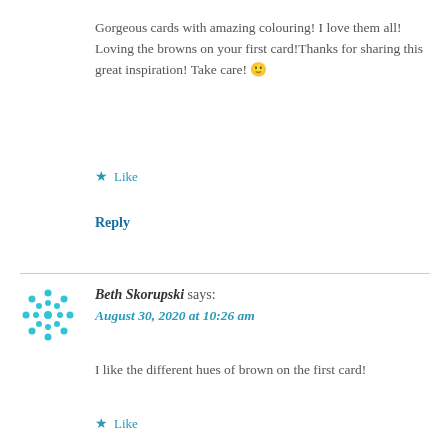Gorgeous cards with amazing colouring! I love them all! Loving the browns on your first card!Thanks for sharing this great inspiration! Take care! 🙂
★ Like
Reply
Beth Skorupski says:
August 30, 2020 at 10:26 am
I like the different hues of brown on the first card!
★ Like